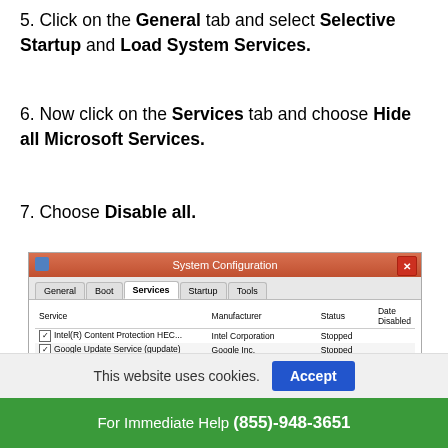5. Click on the General tab and select Selective Startup and Load System Services.
6. Now click on the Services tab and choose Hide all Microsoft Services.
7. Choose Disable all.
[Figure (screenshot): Windows System Configuration dialog showing the Services tab with a list of services including Intel(R) Content Protection HEC..., Google Update Service (gupdate), Google Update Service (gupdatem), Intel(R) HD Graphics Control Pa..., Mozilla Maintenance Service, Service KMSELDI, Skype Updater, and a partially visible row. Columns: Service, Manufacturer, Status, Date Disabled.]
This website uses cookies.
Accept
For Immediate Help (855)-948-3651